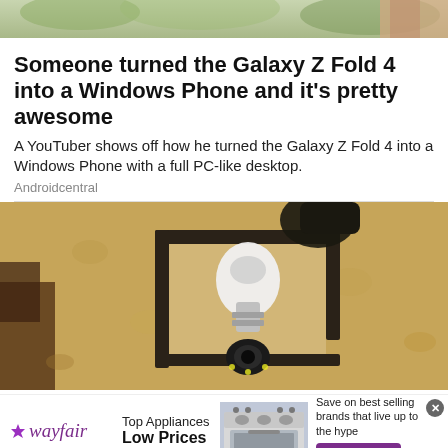[Figure (photo): Partial photo of a plant/outdoor scene cropped at top]
Someone turned the Galaxy Z Fold 4 into a Windows Phone and it's pretty awesome
A YouTuber shows off how he turned the Galaxy Z Fold 4 into a Windows Phone with a full PC-like desktop.
Androidcentral
[Figure (photo): Photo of a black outdoor wall-mounted lantern with a smart camera bulb, mounted on a textured beige stucco wall]
[Figure (photo): Wayfair advertisement showing kitchen appliances — Top Appliances, Low Prices, Save on best selling brands that live up to the hype, Shop now button]